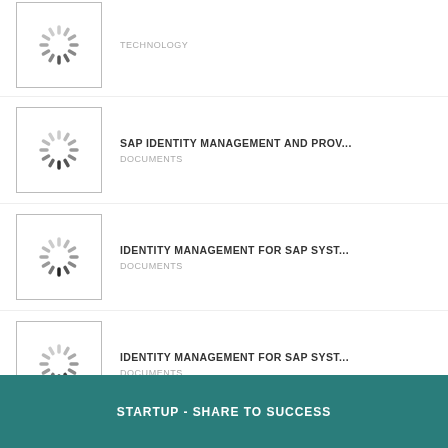TECHNOLOGY
SAP IDENTITY MANAGEMENT AND PROV... | DOCUMENTS
IDENTITY MANAGEMENT FOR SAP SYST... | DOCUMENTS
IDENTITY MANAGEMENT FOR SAP SYST... | DOCUMENTS
View More
STARTUP - SHARE TO SUCCESS